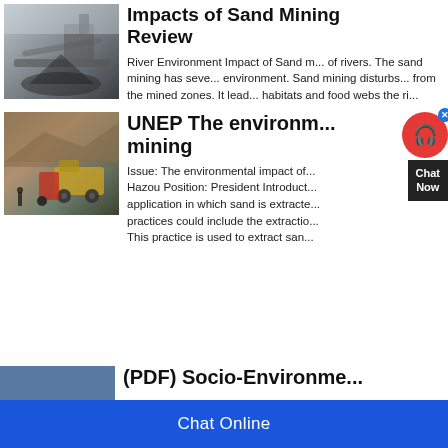[Figure (photo): Industrial sand mining equipment — conveyor belts and mined material piled up outdoors]
Impacts of Sand Mining Review
River Environment Impact of Sand m... of rivers. The sand mining has seve... environment. Sand mining disturbs... from the mined zones. It lead... habitats and food webs the ri...
[Figure (photo): Open pit mining site with heavy machinery (front loader/bulldozer) and excavated earth walls]
UNEP The environm... mining
Issue: The environmental impact of... Hazou Position: President Introduct... application in which sand is extracte... practices could include the extractio... This practice is used to extract san...
(PDF) Socio-Environme...
Chat Online